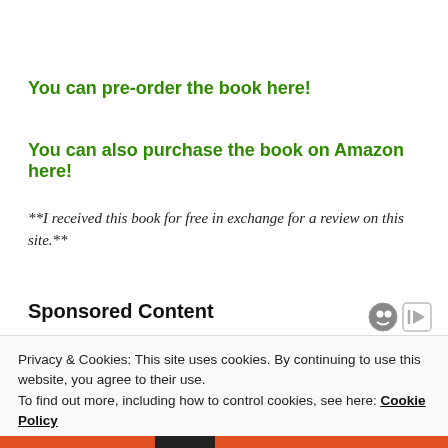You can pre-order the book here!
You can also purchase the book on Amazon here!
**I received this book for free in exchange for a review on this site.**
Sponsored Content
Privacy & Cookies: This site uses cookies. By continuing to use this website, you agree to their use.
To find out more, including how to control cookies, see here: Cookie Policy
Close and accept